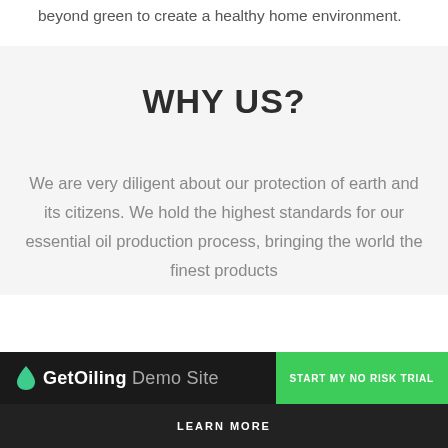beyond green to create a healthy home environment.
WHY US?
We are very diligent about our protection of earth and its citizens. We hold the highest standards for our essential oil production process, bringing the world the finest products
GetOiling Demo Site  START MY NO RISK TRIAL  LEARN MORE